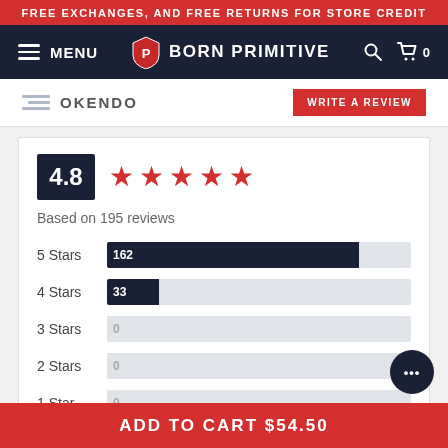FREE EXCHANGES, AND FREE RETURNS FOR STORE CREDIT
MENU | BORN PRIMITIVE
OKENDO | WRITE A REVIEW
[Figure (bar-chart): 4.8 star rating based on 195 reviews]
100% of reviewers would recommend this product to a friend
ADD TO CART $54.50